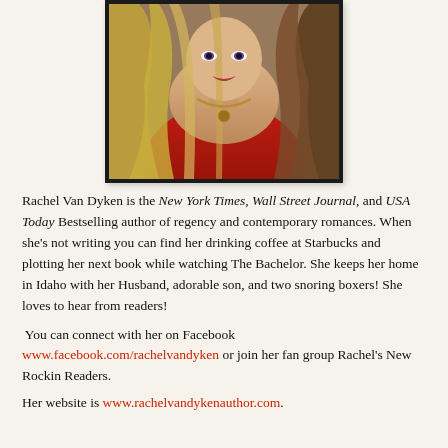[Figure (photo): Author photo of Rachel Van Dyken, a woman with long blonde and brown wavy hair wearing a red outfit with a gold chain necklace, centered at top of page]
Rachel Van Dyken is the New York Times, Wall Street Journal, and USA Today Bestselling author of regency and contemporary romances. When she's not writing you can find her drinking coffee at Starbucks and plotting her next book while watching The Bachelor. She keeps her home in Idaho with her Husband, adorable son, and two snoring boxers! She loves to hear from readers!
You can connect with her on Facebook www.facebook.com/rachelvandyken or join her fan group Rachel's New Rockin Readers.
Her website is www.rachelvandykenauthor.com.